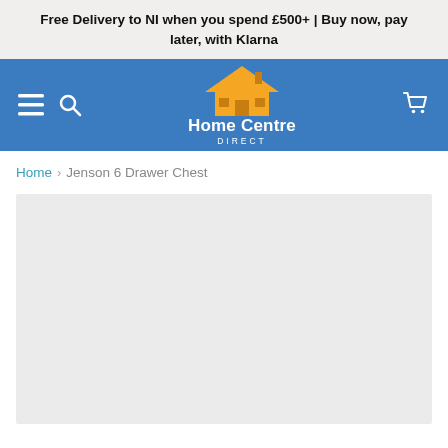Free Delivery to NI when you spend £500+ | Buy now, pay later, with Klarna
[Figure (logo): Home Centre Direct logo with orange roof/house icon and white text]
Home › Jenson 6 Drawer Chest
[Figure (photo): Product image placeholder area (light grey background, no image loaded)]